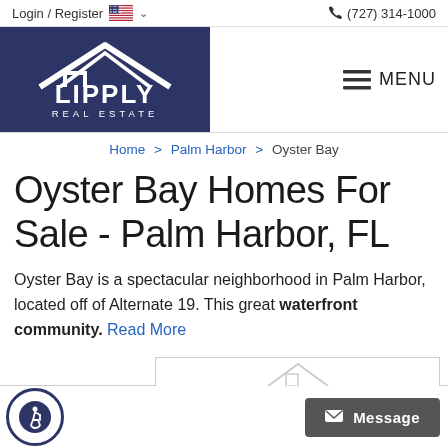Login / Register  🇺🇸 ∨    📞 (727) 314-1000
[Figure (logo): Lipply Real Estate logo — white house/roof icon with LIPPLY text and REAL ESTATE below on dark navy background]
≡ MENU
Home > Palm Harbor > Oyster Bay
Oyster Bay Homes For Sale - Palm Harbor, FL
Oyster Bay is a spectacular neighborhood in Palm Harbor, located off of Alternate 19. This great waterfront community. Read More
[Figure (screenshot): Accessibility icon button (wheelchair symbol in circle) and Message button at the bottom]
[Figure (illustration): Partial property card with house roof outline visible at the bottom of the page]